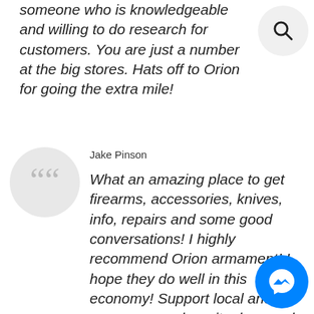someone who is knowledgeable and willing to do research for customers. You are just a number at the big stores. Hats off to Orion for going the extra mile!
Jake Pinson
What an amazing place to get firearms, accessories, knives, info, repairs and some good conversations! I highly recommend Orion armament! I hope they do well in this economy! Support local and put your money where its deserved. I've only had a few questions the times I've been in, but I hate getting the runaround